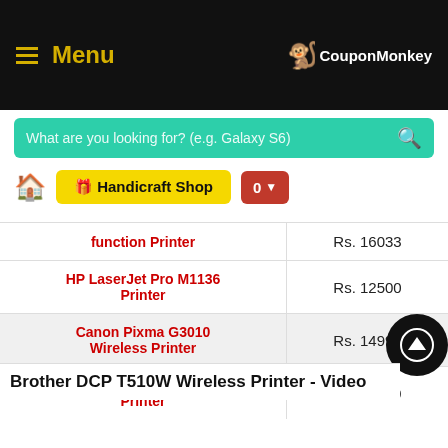Menu | CouponMonkey
What are you looking for? (e.g. Galaxy S6)
🎁 Handicraft Shop | 0
| Product | Price |
| --- | --- |
| function Printer | Rs. 16033 |
| HP LaserJet Pro M1136 Printer | Rs. 12500 |
| Canon Pixma G3010 Wireless Printer | Rs. 14999 |
| HP Ink Tank WL 410 Wireless Printer | Rs. 14599 |
Brother DCP T510W Wireless Printer - Video